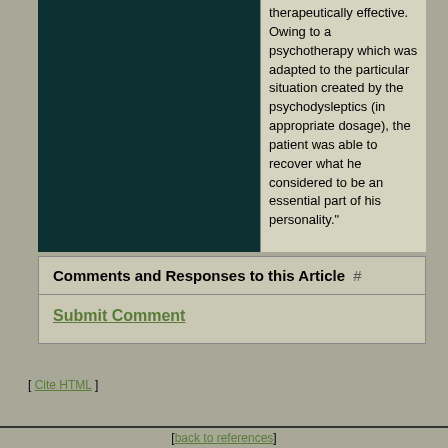[Figure (photo): Dark green/black rectangular image, appears to be a photograph with very dark tones]
therapeutically effective. Owing to a psychotherapy which was adapted to the particular situation created by the psychodysleptics (in appropriate dosage), the patient was able to recover what he considered to be an essential part of his personality."
Comments and Responses to this Article #
Submit Comment
[ Cite HTML ]
[ back to references ]